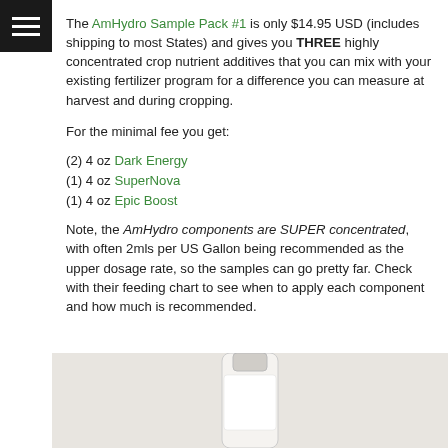hamburger menu icon
The AmHydro Sample Pack #1 is only $14.95 USD (includes shipping to most States) and gives you THREE highly concentrated crop nutrient additives that you can mix with your existing fertilizer program for a difference you can measure at harvest and during cropping.
For the minimal fee you get:
(2) 4 oz Dark Energy
(1) 4 oz SuperNova
(1) 4 oz Epic Boost
Note, the AmHydro components are SUPER concentrated, with often 2mls per US Gallon being recommended as the upper dosage rate, so the samples can go pretty far. Check with their feeding chart to see when to apply each component and how much is recommended.
[Figure (photo): Bottom portion of a product bottle on a light beige/cream background]